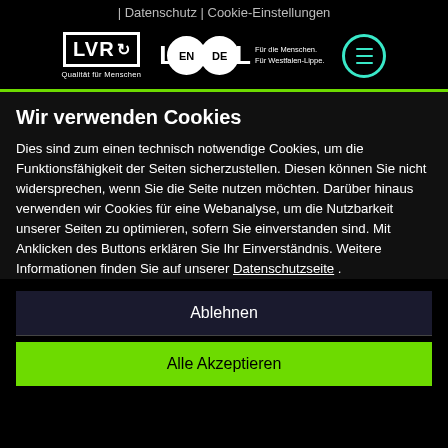| Datenschutz | Cookie-Einstellungen
[Figure (logo): LVR logo (Qualität für Menschen) and LWL logo (Für die Menschen. Für Westfalen-Lippe.) with EN/DE language switcher buttons and hamburger menu button with teal circle]
Wir verwenden Cookies
Dies sind zum einen technisch notwendige Cookies, um die Funktionsfähigkeit der Seiten sicherzustellen. Diesen können Sie nicht widersprechen, wenn Sie die Seite nutzen möchten. Darüber hinaus verwenden wir Cookies für eine Webanalyse, um die Nutzbarkeit unserer Seiten zu optimieren, sofern Sie einverstanden sind. Mit Anklicken des Buttons erklären Sie Ihr Einverständnis. Weitere Informationen finden Sie auf unserer Datenschutzseite .
Ablehnen
Alle Akzeptieren